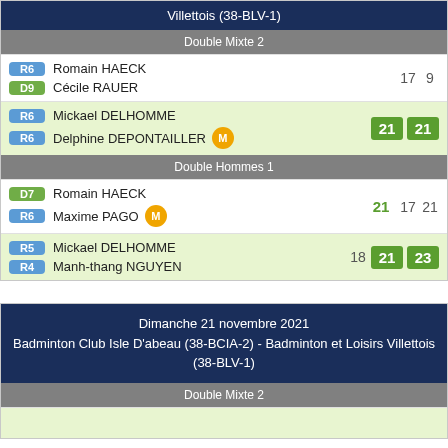Villettois (38-BLV-1)
Double Mixte 2
| R6 | Romain HAECK | 17 | 9 |
| D9 | Cécile RAUER |  |  |
| R6 | Mickael DELHOMME | 21 | 21 |
| R6 | Delphine DEPONTAILLER [M] |  |  |
Double Hommes 1
| D7 | Romain HAECK | 21 | 17 | 21 |
| R6 | Maxime PAGO [M] |  |  |  |
| R5 | Mickael DELHOMME | 18 | 21 | 23 |
| R4 | Manh-thang NGUYEN |  |  |  |
Dimanche 21 novembre 2021
Badminton Club Isle D'abeau (38-BCIA-2) - Badminton et Loisirs Villettois (38-BLV-1)
Double Mixte 2